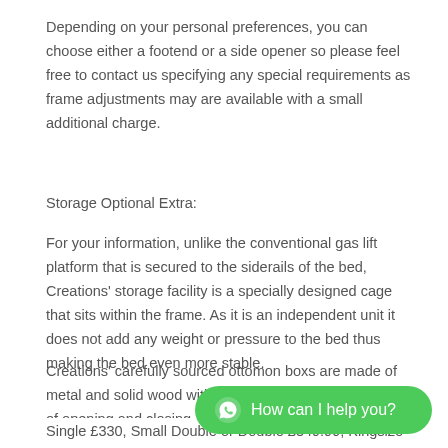Depending on your personal preferences, you can choose either a footend or a side opener so please feel free to contact us specifying any special requirements as frame adjustments may are available with a small additional charge.
Storage Optional Extra:
For your information, unlike the conventional gas lift platform that is secured to the siderails of the bed, Creations' storage facility is a specially designed cage that sits within the frame. As it is an independent unit it does not add any weight or pressure to the bed thus making the bed even more stable.
Creations' carefully sourced ottomon boxs are made of metal and solid wood with sturdy gas lift pistons for ease of opening and closing
Single £330, Small Double or Double £349.99, Kingsize
[Figure (other): Green WhatsApp chat button with WhatsApp icon and text 'How can I help you?']